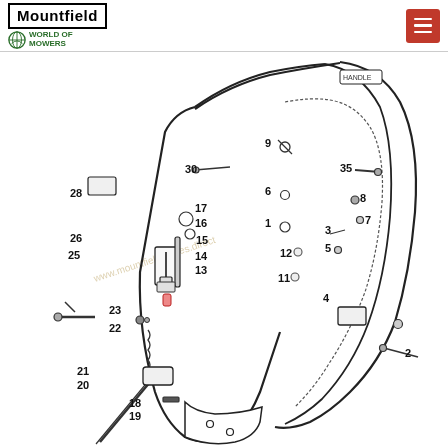[Figure (engineering-diagram): Exploded parts diagram of a Mountfield lawn mower handle/control assembly, with numbered callouts from 1 to 35 pointing to individual components including handle bars, springs, brackets, bolts, washers, cables, and a height-adjustment lever mechanism. Watermark text 'www.mountfieldspares.direct' appears diagonally across the diagram.]
Mountfield | World of Mowers